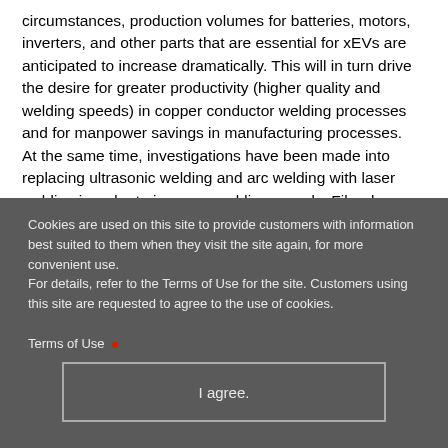circumstances, production volumes for batteries, motors, inverters, and other parts that are essential for xEVs are anticipated to increase dramatically. This will in turn drive the desire for greater productivity (higher quality and welding speeds) in copper conductor welding processes and for manpower savings in manufacturing processes.
At the same time, investigations have been made into replacing ultrasonic welding and arc welding with laser welding in order to increase welding speeds. Fiber laser has high-brightness, high
Cookies are used on this site to provide customers with information best suited to them when they visit the site again, for more convenient use.
For details, refer to the Terms of Use for the site. Customers using this site are requested to agree to the use of cookies.
Terms of Use
I agree.